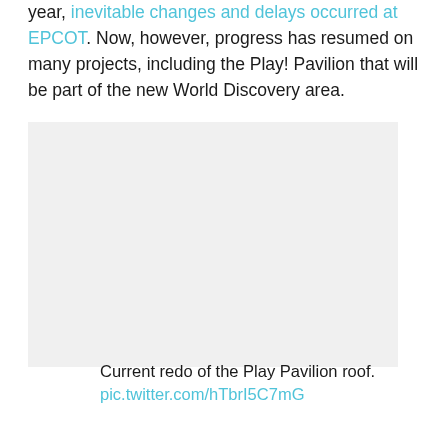year, inevitable changes and delays occurred at EPCOT. Now, however, progress has resumed on many projects, including the Play! Pavilion that will be part of the new World Discovery area.
[Figure (photo): Photo of the current redo of the Play Pavilion roof at EPCOT (image area appears mostly blank/white in this crop)]
Current redo of the Play Pavilion roof.
pic.twitter.com/hTbrI5C7mG